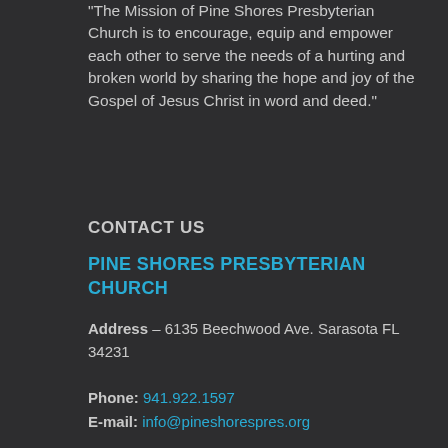“The Mission of Pine Shores Presbyterian Church is to encourage, equip and empower each other to serve the needs of a hurting and broken world by sharing the hope and joy of the Gospel of Jesus Christ in word and deed.”
CONTACT US
PINE SHORES PRESBYTERIAN CHURCH
Address – 6135 Beechwood Ave. Sarasota FL 34231
Phone: 941.922.1597
E-mail: info@pineshorespres.org